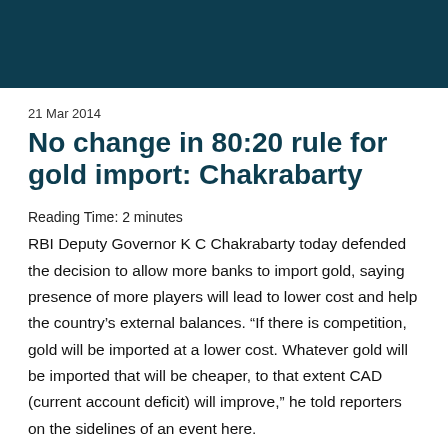21 Mar 2014
No change in 80:20 rule for gold import: Chakrabarty
Reading Time: 2 minutes
RBI Deputy Governor K C Chakrabarty today defended the decision to allow more banks to import gold, saying presence of more players will lead to lower cost and help the country's external balances. “If there is competition, gold will be imported at a lower cost. Whatever gold will be imported that will be cheaper, to that extent CAD (current account deficit) will improve,” he told reporters on the sidelines of an event here.